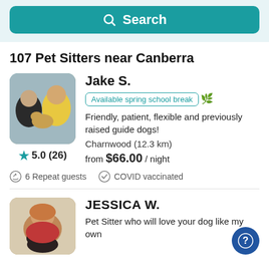[Figure (screenshot): Teal search button with magnifying glass icon and 'Search' text on a light blue background header]
107 Pet Sitters near Canberra
[Figure (photo): Photo of Jake S. showing two people and a dog in a car, with yellow and teal shirts]
Jake S.
Available spring school break 🌿
Friendly, patient, flexible and previously raised guide dogs!
Charnwood (12.3 km)
from $66.00 / night
5.0 (26)
6 Repeat guests
COVID vaccinated
[Figure (photo): Photo of Jessica W. showing a woman with a dark dog]
JESSICA W.
Pet Sitter who will love your dog like my own